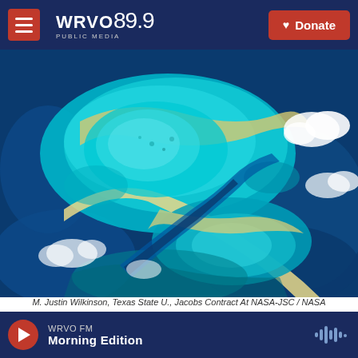WRVO 89.9 PUBLIC MEDIA — Donate
[Figure (photo): Aerial/satellite photograph of a portion of Australia's Great Barrier Reef (Flinders Reef area), photographed from the International Space Station. The image shows vivid turquoise and deep blue ocean waters with coral reef formations visible from above, with white clouds scattered at the edges.]
M. Justin Wilkinson, Texas State U., Jacobs Contract At NASA-JSC / NASA
A portion of Australia's Great Barrier Reef photographed from the International Space Station. The Flinders Reef area of the Great Barrier
WRVO FM — Morning Edition